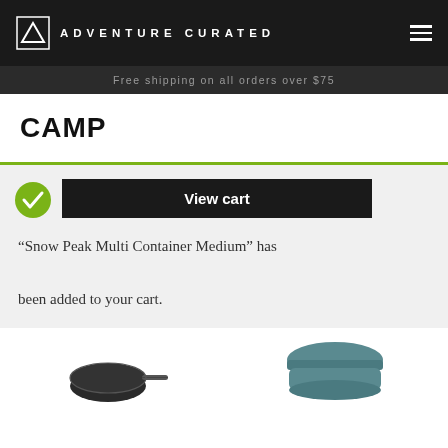ADVENTURE CURATED
Free shipping on all orders over $75
CAMP
View cart
“Snow Peak Multi Container Medium” has been added to your cart.
[Figure (photo): Two outdoor/camping cookware product thumbnails partially visible at the bottom: a black pan with handle on the left, and a round teal/grey lidded container on the right.]